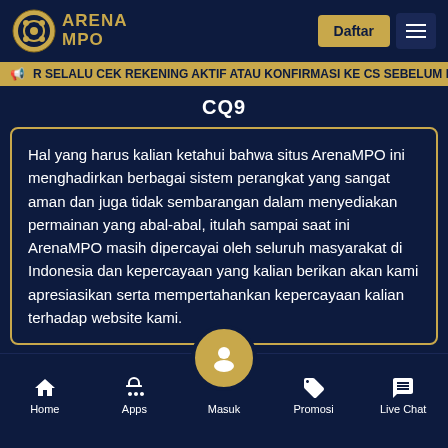ARENA MPO
R SELALU CEK REKENING AKTIF ATAU KONFIRMASI KE CS SEBELUM MELAK
CQ9
Hal yang harus kalian ketahui bahwa situs ArenaMPO ini menghadirkan berbagai sistem perangkat yang sangat aman dan juga tidak sembarangan dalam menyediakan permainan yang abal-abal, itulah sampai saat ini ArenaMPO masih dipercayai oleh seluruh masyarakat di Indonesia dan kepercayaan yang kalian berikan akan kami apresiasikan serta mempertahankan kepercayaan kalian terhadap website kami.
Home | Apps | Masuk | Promosi | Live Chat